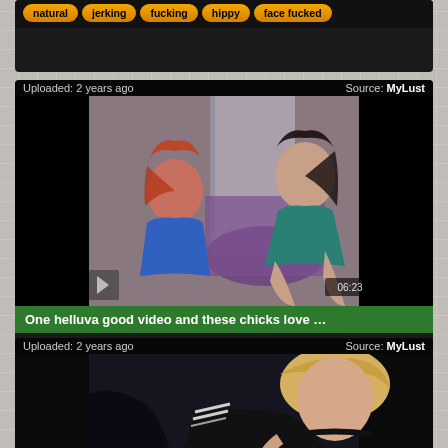natural  jerking  fucking  hippy  face fucked
Uploaded: 2 years ago    Source: MyLust
[Figure (photo): Two young women on webcam, one with red hair in blue top, one with dark hair in teal top, sitting on purple chair]
One helluva good video and these chicks love …
lingerie  naughty  kinky  masturbation  web cam
Uploaded: 2 years ago    Source: MyLust
[Figure (photo): Blonde woman in black athletic top with striped sleeves, partial view]